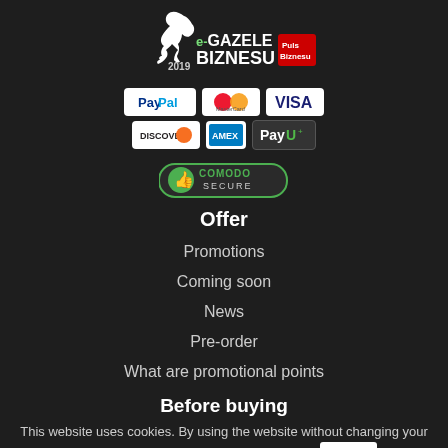[Figure (logo): e-Gazele Biznesu 2019 logo with Puls Biznesu badge]
[Figure (logo): Payment method icons: PayPal, MasterCard, VISA, Discover, American Express, PayU]
[Figure (logo): Comodo Secure badge]
Offer
Promotions
Coming soon
News
Pre-order
What are promotional points
Before buying
This website uses cookies. By using the website without changing your browser settings, you consent to their use. OK